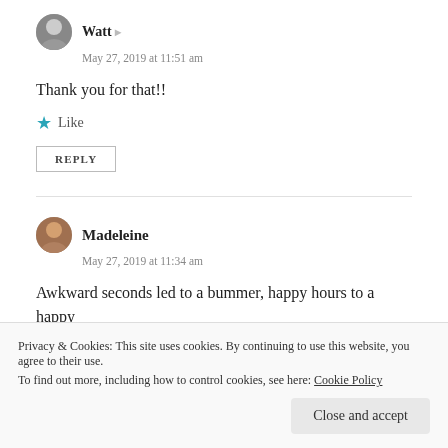[Figure (photo): Small circular avatar photo of Watt]
Watt
May 27, 2019 at 11:51 am
Thank you for that!!
Like
REPLY
[Figure (photo): Small circular avatar photo of Madeleine]
Madeleine
May 27, 2019 at 11:34 am
Awkward seconds led to a bummer, happy hours to a happy
Privacy & Cookies: This site uses cookies. By continuing to use this website, you agree to their use.
To find out more, including how to control cookies, see here: Cookie Policy
Close and accept